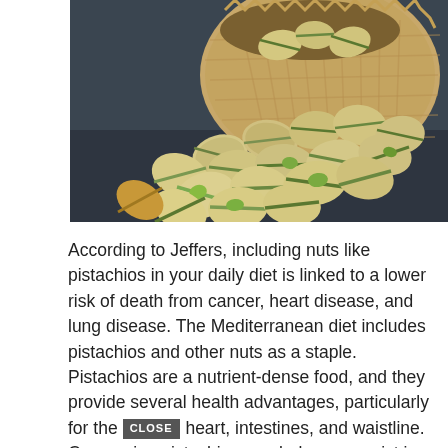[Figure (photo): A burlap sack filled with pistachios, spilling open with many pistachio nuts scattered in front of it on a dark gray surface. The pistachios show their characteristic split shells with green interiors visible.]
According to Jeffers, including nuts like pistachios in your daily diet is linked to a lower risk of death from cancer, heart disease, and lung disease. The Mediterranean diet includes pistachios and other nuts as a staple. Pistachios are a nutrient-dense food, and they provide several health advantages, particularly for the heart, intestines, and waistline. Consuming pistachios regularly may assist in improving...